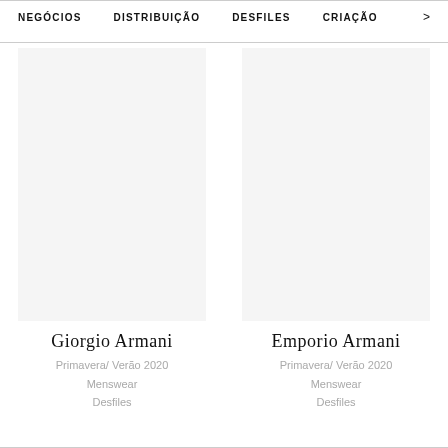NEGÓCIOS   DISTRIBUIÇÃO   DESFILES   CRIAÇÃO   >
Giorgio Armani
Primavera/ Verão 2020
Menswear
Desfiles
Emporio Armani
Primavera/ Verão 2020
Menswear
Desfiles